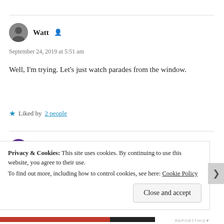Watt
September 24, 2019 at 5:51 am
Well, I'm trying. Let's just watch parades from the window.
Liked by 2 people
Silent Hour
September 24, 2019 at 9:18 pm
Privacy & Cookies: This site uses cookies. By continuing to use this website, you agree to their use. To find out more, including how to control cookies, see here: Cookie Policy
Close and accept